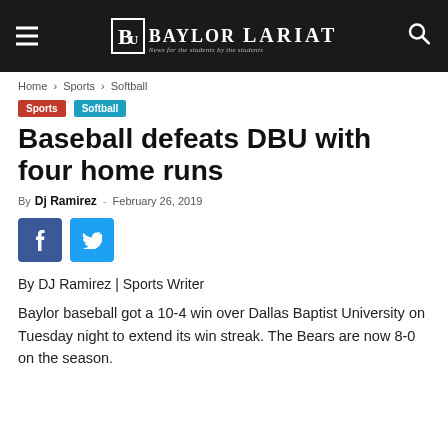Baylor Lariat — News for the students by the students
Home › Sports › Softball
Sports
Softball
Baseball defeats DBU with four home runs
By Dj Ramirez - February 26, 2019
By DJ Ramirez | Sports Writer
Baylor baseball got a 10-4 win over Dallas Baptist University on Tuesday night to extend its win streak. The Bears are now 8-0 on the season.